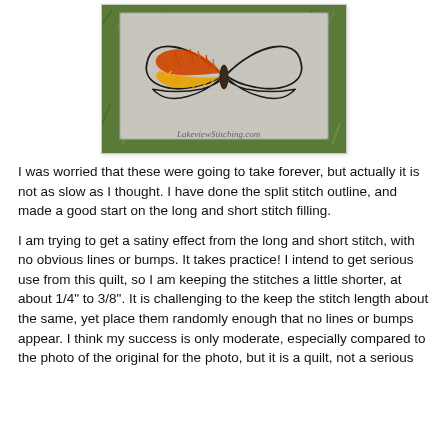[Figure (photo): A partially completed embroidered butterfly on fabric. The butterfly has orange and yellow long-and-short stitch fills on the left wing, with the right wing outlined in black split stitch but not yet filled. The background fabric appears grey/white with fibrous texture, set against green grass. A watermark reads 'LakeviewStitching.com'.]
I was worried that these were going to take forever, but actually it is not as slow as I thought. I have done the split stitch outline, and made a good start on the long and short stitch filling.
I am trying to get a satiny effect from the long and short stitch, with no obvious lines or bumps. It takes practice! I intend to get serious use from this quilt, so I am keeping the stitches a little shorter, at about 1/4" to 3/8". It is challenging to the keep the stitch length about the same, yet place them randomly enough that no lines or bumps appear. I think my success is only moderate, especially compared to the photo of the original for the photo, but it is a quilt, not a serious embroidery project.